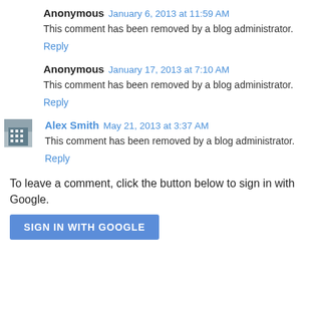Anonymous  January 6, 2013 at 11:59 AM
This comment has been removed by a blog administrator.
Reply
Anonymous  January 17, 2013 at 7:10 AM
This comment has been removed by a blog administrator.
Reply
Alex Smith  May 21, 2013 at 3:37 AM
This comment has been removed by a blog administrator.
Reply
To leave a comment, click the button below to sign in with Google.
SIGN IN WITH GOOGLE